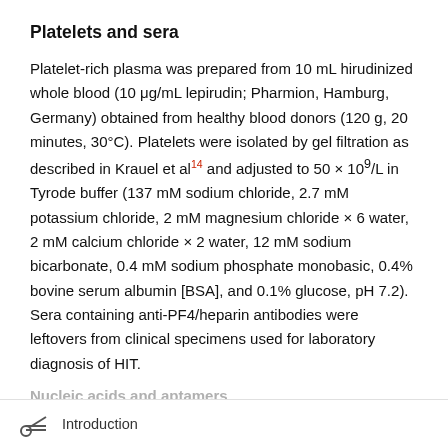Platelets and sera
Platelet-rich plasma was prepared from 10 mL hirudinized whole blood (10 μg/mL lepirudin; Pharmion, Hamburg, Germany) obtained from healthy blood donors (120 g, 20 minutes, 30°C). Platelets were isolated by gel filtration as described in Krauel et al¹⁴ and adjusted to 50 × 10⁹/L in Tyrode buffer (137 mM sodium chloride, 2.7 mM potassium chloride, 2 mM magnesium chloride × 6 water, 2 mM calcium chloride × 2 water, 12 mM sodium bicarbonate, 0.4 mM sodium phosphate monobasic, 0.4% bovine serum albumin [BSA], and 0.1% glucose, pH 7.2). Sera containing anti-PF4/heparin antibodies were leftovers from clinical specimens used for laboratory diagnosis of HIT.
Nucleic acids and aptamers
Introduction
Sequences and sources of aptamers and nuclese acid